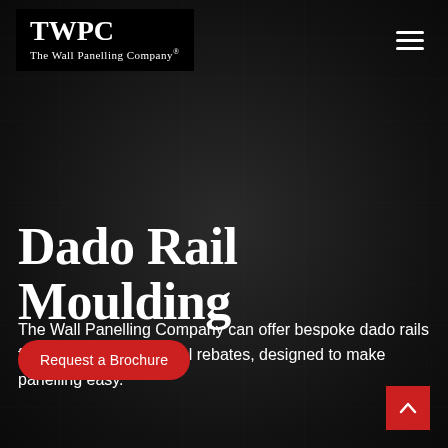[Figure (logo): TWPC - The Wall Panelling Company logo in white text on black background]
Dado Rail Moulding
The Wall Panelling Company can offer bespoke dado rails for panelling with special rebates, designed to make panelling easy.
Request a Brochure